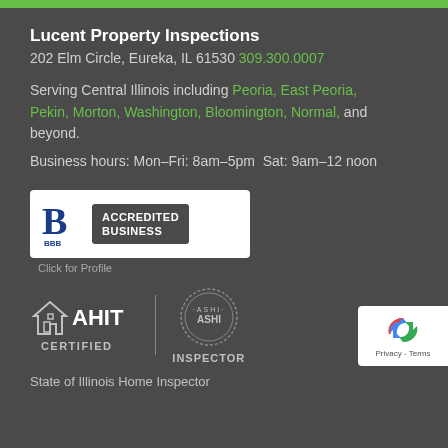Lucent Property Inspections
202 Elm Circle, Eureka, IL 61530 309.300.0007
Serving Central Illinois including Peoria, East Peoria, Pekin, Morton, Washington, Bloomington, Normal, and beyond.
Business hours: Mon–Fri: 8am–5pm  Sat: 9am–12 noon
[Figure (logo): BBB Accredited Business badge with B symbol and text 'ACCREDITED BUSINESS']
Click for Profile
[Figure (logo): AHIT Certified logo with house icon and CERTIFIED text]
[Figure (logo): ASHI Inspector circular badge logo]
[Figure (logo): reCAPTCHA badge with Privacy and Terms text]
State of Illinois Home Inspector